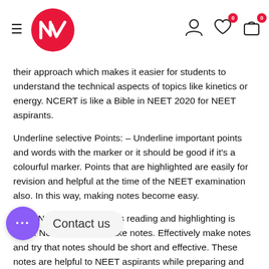NV logo with hamburger menu and icons
their approach which makes it easier for students to understand the technical aspects of topics like kinetics or energy. NCERT is like a Bible in NEET 2020 for NEET aspirants.
Underline selective Points: – Underline important points and words with the marker or it should be good if it's a colourful marker. Points that are highlighted are easily for revision and helpful at the time of the NEET examination also. In this way, making notes become easy.
Short Notes: – When one's reading and highlighting is done. Now it's time to make notes. Effectively make notes and try that notes should be short and effective. These notes are helpful to NEET aspirants while preparing and during the time of revision fo…07… hort Notes
Colour Scheme Notes: – Notes should be in different colours.